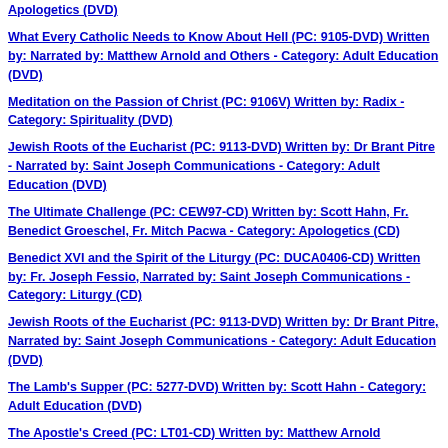Apologetics (DVD)
What Every Catholic Needs to Know About Hell (PC: 9105-DVD) Written by: Narrated by: Matthew Arnold and Others - Category: Adult Education (DVD)
Meditation on the Passion of Christ (PC: 9106V) Written by: Radix - Category: Spirituality (DVD)
Jewish Roots of the Eucharist (PC: 9113-DVD) Written by: Dr Brant Pitre - Narrated by: Saint Joseph Communications - Category: Adult Education (DVD)
The Ultimate Challenge (PC: CEW97-CD) Written by: Scott Hahn, Fr. Benedict Groeschel, Fr. Mitch Pacwa - Category: Apologetics (CD)
Benedict XVI and the Spirit of the Liturgy (PC: DUCA0406-CD) Written by: Fr. Joseph Fessio, Narrated by: Saint Joseph Communications - Category: Liturgy (CD)
Jewish Roots of the Eucharist (PC: 9113-DVD) Written by: Dr Brant Pitre, Narrated by: Saint Joseph Communications - Category: Adult Education (DVD)
The Lamb's Supper (PC: 5277-DVD) Written by: Scott Hahn - Category: Adult Education (DVD)
The Apostle's Creed (PC: LT01-CD) Written by: Matthew Arnold